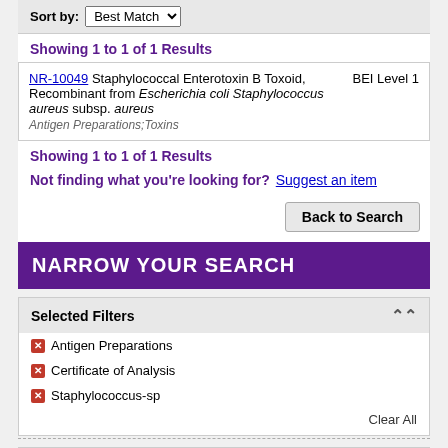Sort by: Best Match
Showing 1 to 1 of 1 Results
NR-10049 Staphylococcal Enterotoxin B Toxoid, Recombinant from Escherichia coli Staphylococcus aureus subsp. aureus | BEI Level 1 | Antigen Preparations;Toxins
Showing 1 to 1 of 1 Results
Not finding what you're looking for? Suggest an item
Back to Search
NARROW YOUR SEARCH
Selected Filters
Antigen Preparations
Certificate of Analysis
Staphylococcus-sp
Clear All
All Resources
CATEGORY